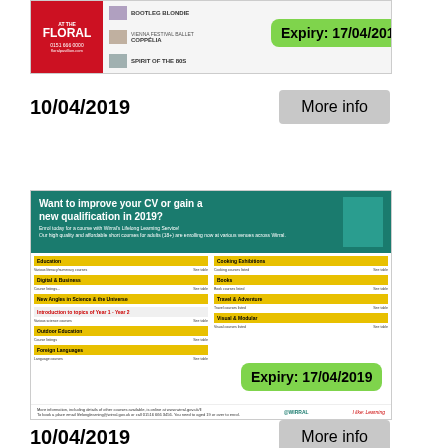[Figure (screenshot): Advertisement for Floral Pavilion theatre showing show listings with Bootleg Blondie, Vienna Festival Ballet Coppelia, Spirit of the 80s, and an expiry badge showing 17/04/2019]
10/04/2019
More info
[Figure (screenshot): Advertisement for Wirral Lifelong Learning Service - Want to improve your CV or gain a new qualification in 2019? Course listings table with expiry badge showing 17/04/2019]
10/04/2019
More info